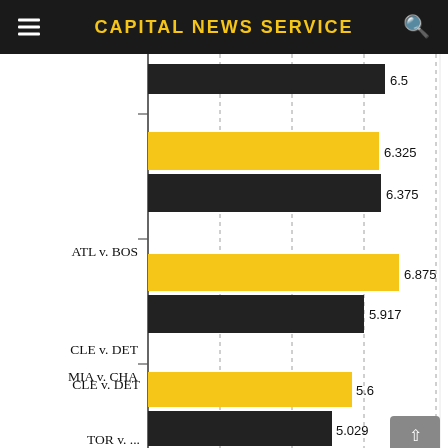CAPITAL NEWS SERVICE
[Figure (bar-chart): Sports matchup scores]